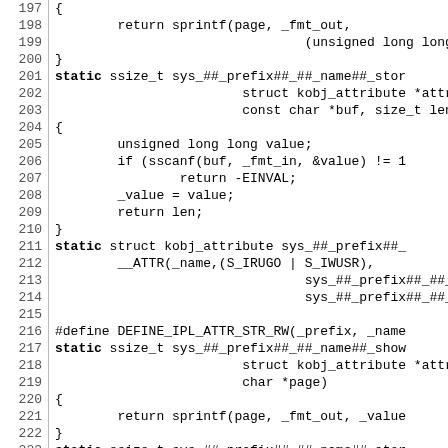Source code listing, lines 197-226, C kernel macro code